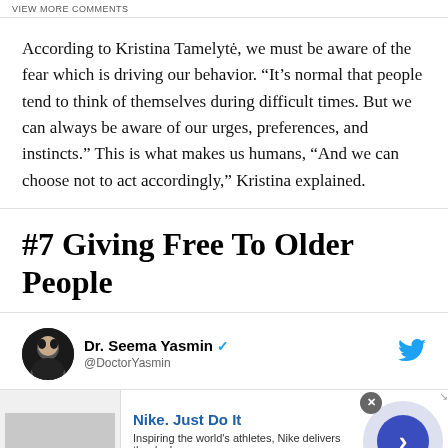VIEW MORE COMMENTS
According to Kristina Tamelytė, we must be aware of the fear which is driving our behavior. “It’s normal that people tend to think of themselves during difficult times. But we can always be aware of our urges, preferences, and instincts.” This is what makes us humans, “And we can choose not to act accordingly,” Kristina explained.
#7 Giving Free To Older People
Dr. Seema Yasmin @DoctorYasmin
[Figure (screenshot): Nike advertisement overlay showing Nike logo, tagline 'Nike. Just Do It', description text, www.nike.com URL, and a blue arrow button on grey circle background with close button.]